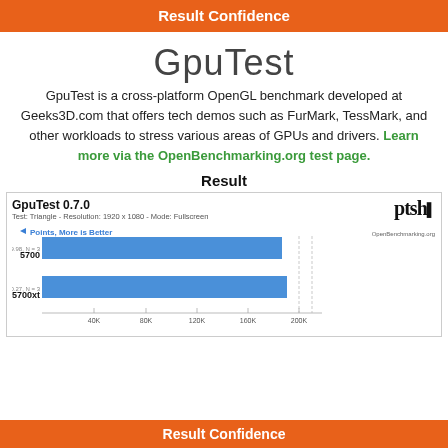Result Confidence
GpuTest
GpuTest is a cross-platform OpenGL benchmark developed at Geeks3D.com that offers tech demos such as FurMark, TessMark, and other workloads to stress various areas of GPUs and drivers. Learn more via the OpenBenchmarking.org test page.
Result
[Figure (bar-chart): GpuTest 0.7.0]
Result Confidence